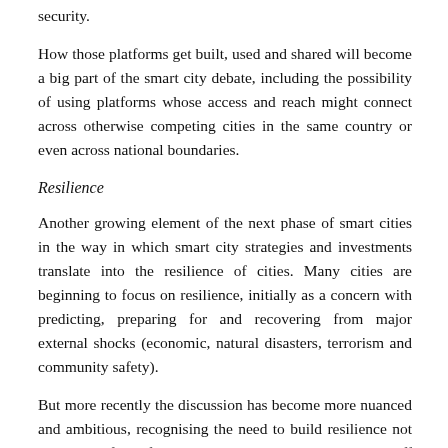security.
How those platforms get built, used and shared will become a big part of the smart city debate, including the possibility of using platforms whose access and reach might connect across otherwise competing cities in the same country or even across national boundaries.
Resilience
Another growing element of the next phase of smart cities in the way in which smart city strategies and investments translate into the resilience of cities. Many cities are beginning to focus on resilience, initially as a concern with predicting, preparing for and recovering from major external shocks (economic, natural disasters, terrorism and community safety).
But more recently the discussion has become more nuanced and ambitious, recognising the need to build resilience not only in the face of sharp, unexpected but essentially one-off external shocks, but also in response to the face of “slower” and more insidious risks